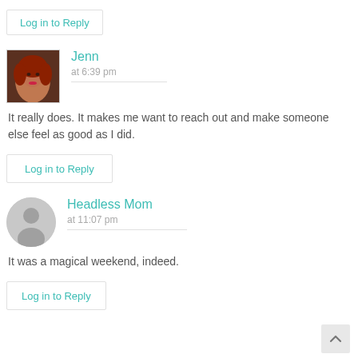Log in to Reply
[Figure (photo): Avatar photo of Jenn, a woman with red hair]
Jenn
at 6:39 pm
It really does. It makes me want to reach out and make someone else feel as good as I did.
Log in to Reply
[Figure (illustration): Generic grey avatar placeholder (silhouette of a person)]
Headless Mom
at 11:07 pm
It was a magical weekend, indeed.
Log in to Reply